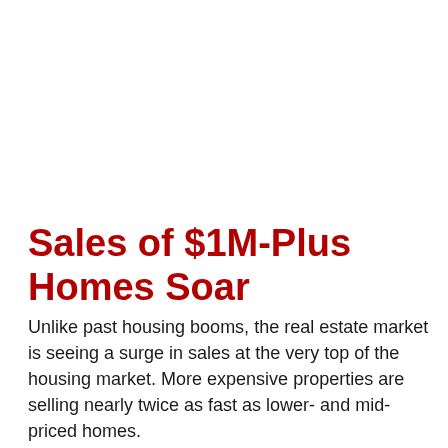Sales of $1M-Plus Homes Soar
Unlike past housing booms, the real estate market is seeing a surge in sales at the very top of the housing market. More expensive properties are selling nearly twice as fast as lower- and mid-priced homes.
“Wealthier Americans have benefited greatly during the pandemic thanks to the rising stock market, which typically helps grow net wealth,” Lawrence Yun, chief